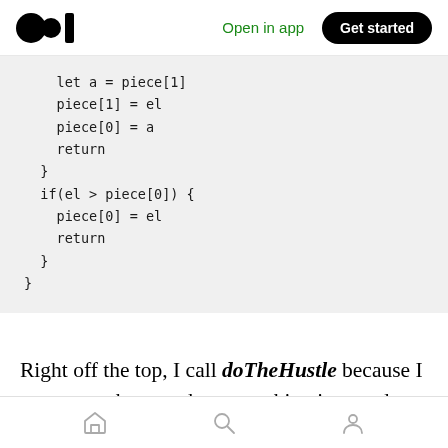Medium app navigation bar with logo, Open in app, Get started
[Figure (screenshot): Medium logo (two circles and a rectangle) on top left nav bar]
Open in app
Get started
let a = piece[1]
    piece[1] = el
    piece[0] = a
    return
  }
  if(el > piece[0]) {
    piece[0] = el
    return
  }
}
Right off the top, I call doTheHustle because I want to make sure that everything is sorted so that the functionality of this method yields the appropriate result.
Bottom navigation bar with home, search, and profile icons